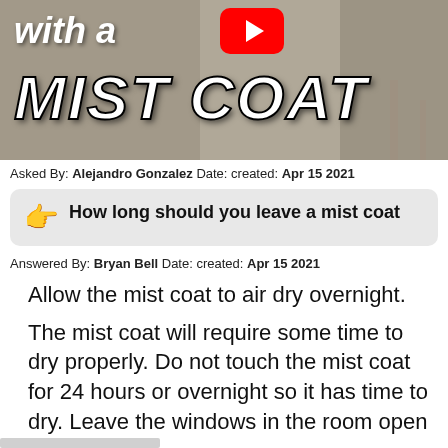[Figure (screenshot): YouTube video thumbnail showing a person painting a wall with text 'with a MIST COAT' and YouTube logo]
Asked By: Alejandro Gonzalez Date: created: Apr 15 2021
How long should you leave a mist coat
Answered By: Bryan Bell Date: created: Apr 15 2021
Allow the mist coat to air dry overnight.
The mist coat will require some time to dry properly. Do not touch the mist coat for 24 hours or overnight so it has time to dry. Leave the windows in the room open to help it dry.